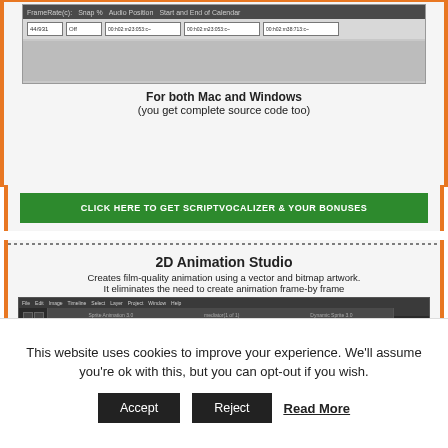[Figure (screenshot): Screenshot of ScriptVocalizer application interface showing toolbar with FrameRate, Snap%, Audio Position, and Start/End/End of Calendar columns]
For both Mac and Windows
(you get complete source code too)
[Figure (screenshot): Green call-to-action button: CLICK HERE TO GET SCRIPTVOCALIZER & YOUR BONUSES]
2D Animation Studio
Creates film-quality animation using a vector and bitmap artwork.
It eliminates the need to create animation frame-by frame
[Figure (screenshot): Screenshot of 2D Animation Studio software with dark interface, color palette on right, and cartoon characters at a dinner table on a checkered canvas]
This website uses cookies to improve your experience. We'll assume you're ok with this, but you can opt-out if you wish.
Accept   Reject   Read More